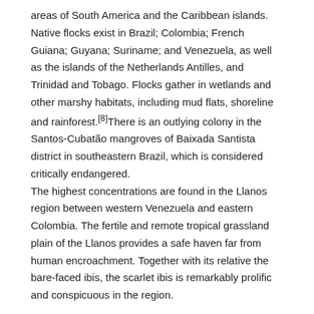areas of South America and the Caribbean islands. Native flocks exist in Brazil; Colombia; French Guiana; Guyana; Suriname; and Venezuela, as well as the islands of the Netherlands Antilles, and Trinidad and Tobago. Flocks gather in wetlands and other marshy habitats, including mud flats, shoreline and rainforest.[8]There is an outlying colony in the Santos-Cubatão mangroves of Baixada Santista district in southeastern Brazil, which is considered critically endangered.
The highest concentrations are found in the Llanos region between western Venezuela and eastern Colombia. The fertile and remote tropical grassland plain of the Llanos provides a safe haven far from human encroachment. Together with its relative the bare-faced ibis, the scarlet ibis is remarkably prolific and conspicuous in the region.
Scarlet ibis vagrants have been identified in Belize, Ecuador, and Panama; Aruba, Cuba, Dominica, Grenada, and Jamaica; sightings have even been made in the United States. The species may well have been a natural vagrant to the Gulf Coast in the 19th century or earlier – in The Birds of America, John James Audubon made brief remarks regarding three rubra specimens he encountered in Louisiana. However, virtually all modern occurrences of the species in North America have been introduced or escaped birds. In one notable example from 1962, scarlet ibis eggs were placed in white ibis nests in Florida's Greynolds Park,